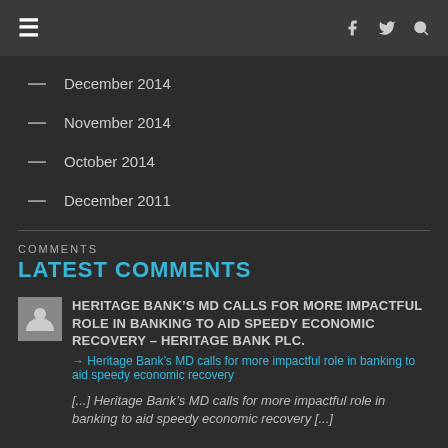Navigation bar with menu, Facebook, Twitter, Search icons
December 2014
November 2014
October 2014
December 2011
COMMENTS
LATEST COMMENTS
HERITAGE BANK'S MD CALLS FOR MORE IMPACTFUL ROLE IN BANKING TO AID SPEEDY ECONOMIC RECOVERY – Heritage Bank Plc.
→ Heritage Bank's MD calls for more impactful role in banking to aid speedy economic recovery
[...] Heritage Bank's MD calls for more impactful role in banking to aid speedy economic recovery [...]